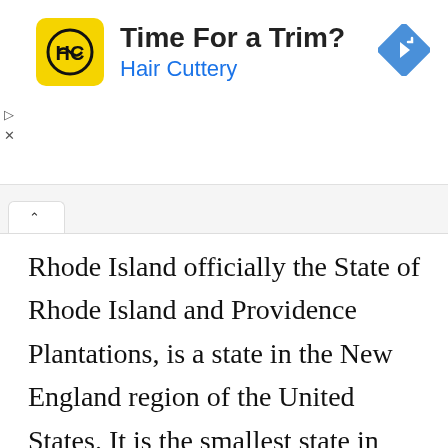[Figure (advertisement): Hair Cuttery advertisement banner with yellow logo showing HC letters, text 'Time For a Trim?' and 'Hair Cuttery' in blue, and a blue diamond navigation arrow icon on the right.]
Rhode Island officially the State of Rhode Island and Providence Plantations, is a state in the New England region of the United States. It is the smallest state in area, the seventh least populous, the second most densely populated, and it has the longest official name of any state. Rhode Island is bordered by Connecticut to